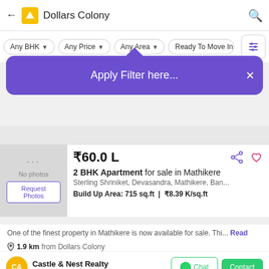← Dollars Colony (search bar)
Any BHK ▾  Any Price ▾  Any Area ▾  Ready To Move In ▾
Apply Filter here...  ×
₹60.0 L
2 BHK Apartment for sale in Mathikere
Sterling Shriniket, Devasandra, Mathikere, Ban...
Build Up Area: 715 sq.ft  |  ₹8.39 K/sq.ft
One of the finest property in Mathikere is now available for sale. Thi... Read more
📍 1.9 km from Dollars Colony
Castle & Nest Realty
Housing Prime Agent